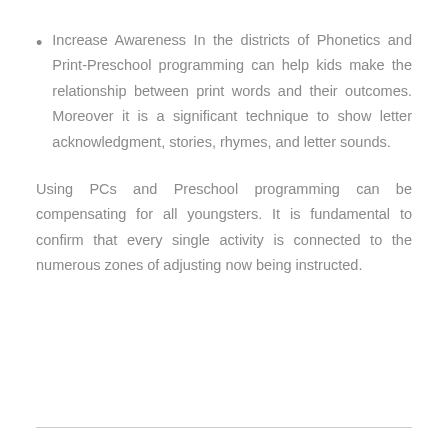Increase Awareness In the districts of Phonetics and Print-Preschool programming can help kids make the relationship between print words and their outcomes. Moreover it is a significant technique to show letter acknowledgment, stories, rhymes, and letter sounds.
Using PCs and Preschool programming can be compensating for all youngsters. It is fundamental to confirm that every single activity is connected to the numerous zones of adjusting now being instructed.